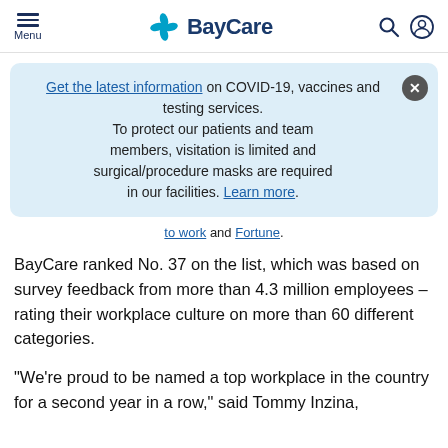Menu | BayCare | [search icon] [user icon]
Get the latest information on COVID-19, vaccines and testing services. To protect our patients and team members, visitation is limited and surgical/procedure masks are required in our facilities. Learn more.
to work and Fortune.
BayCare ranked No. 37 on the list, which was based on survey feedback from more than 4.3 million employees – rating their workplace culture on more than 60 different categories.
“We’re proud to be named a top workplace in the country for a second year in a row,” said Tommy Inzina,